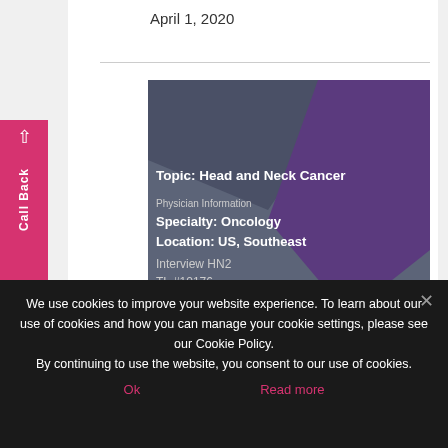April 1, 2020
[Figure (illustration): Medical report card with geometric slate-blue and purple triangular design. Shows topic, physician information, specialty, location, and interview reference.]
Topic: Head and Neck Cancer
Physician Information
Specialty: Oncology
Location: US, Southeast
Interview HN2
TL #10176
We use cookies to improve your website experience. To learn about our use of cookies and how you can manage your cookie settings, please see our Cookie Policy.
By continuing to use the website, you consent to our use of cookies.
Ok
Read more